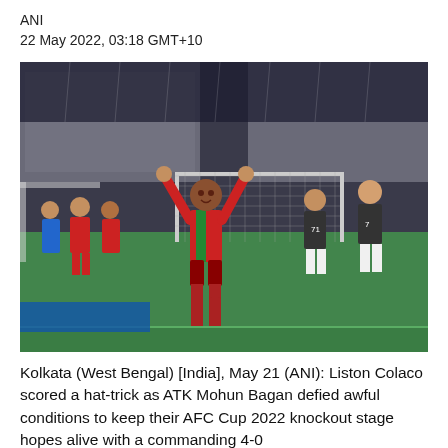ANI
22 May 2022, 03:18 GMT+10
[Figure (photo): A football player in a green and red ATK Mohun Bagan jersey celebrating with arms raised in the air on a football pitch at night, with other players in dark jerseys standing behind him, a goalpost and stands visible in the background.]
Kolkata (West Bengal) [India], May 21 (ANI): Liston Colaco scored a hat-trick as ATK Mohun Bagan defied awful conditions to keep their AFC Cup 2022 knockout stage hopes alive with a commanding 4-0